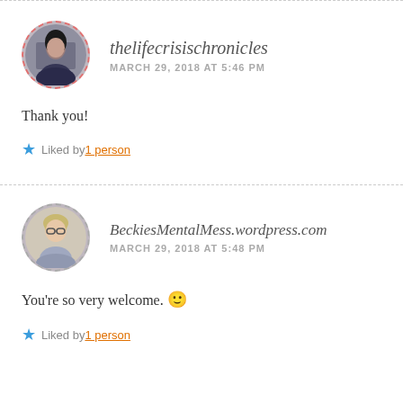[Figure (photo): Circular avatar photo of a person (dark hair, wearing dark clothing) with dashed red border]
thelifecrisischronicles
MARCH 29, 2018 AT 5:46 PM
Thank you!
Liked by 1 person
[Figure (photo): Circular avatar photo of an older woman with glasses and blonde hair with dashed border]
BeckiesMentalMess.wordpress.com
MARCH 29, 2018 AT 5:48 PM
You're so very welcome. 🙂
Liked by 1 person